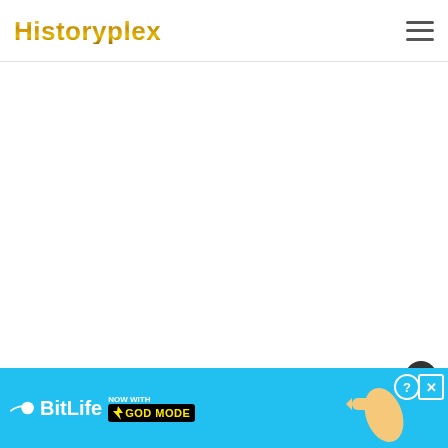Historyplex
[Figure (other): Large empty white content area below the header]
[Figure (other): Close (X) button circle, dark gray with white X, bottom-right area]
[Figure (other): BitLife advertisement banner at bottom: blue background, sperm icon, BitLife logo, 'NOW WITH GOD MODE' text, pointing hand illustration, help and close buttons]